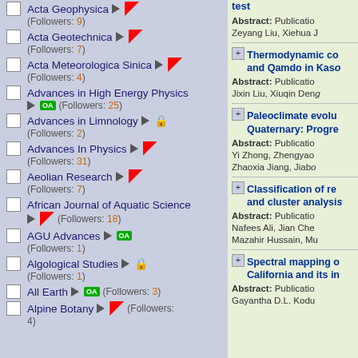Acta Geophysica (Followers: 9)
Acta Geotechnica (Followers: 7)
Acta Meteorologica Sinica (Followers: 4)
Advances in High Energy Physics OA (Followers: 25)
Advances in Limnology (Followers: 2)
Advances In Physics (Followers: 31)
Aeolian Research (Followers: 7)
African Journal of Aquatic Science (Followers: 18)
AGU Advances OA (Followers: 1)
Algological Studies (Followers: 1)
All Earth OA (Followers: 3)
Alpine Botany (Followers: 4)
test
Abstract: Publication Zeyang Liu, Xiehua J
Thermodynamic co and Qamdo in Kaso
Abstract: Publication Jixin Liu, Xiuqin Den
Paleoclimate evolu Quaternary: Progre
Abstract: Publication Yi Zhong, Zhengyao Zhaoxia Jiang, Jiabo
Classification of re and cluster analysi
Abstract: Publication Nafees Ali, Jian Che Mazahir Hussain, Mu
Spectral mapping o California and its in
Abstract: Publication Gayantha D.L. Kodu